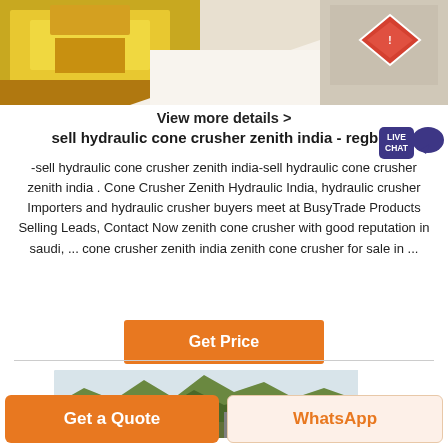[Figure (photo): Top portion of a product/machinery photo showing yellow industrial equipment on the left and a triangular warning sign on the right with grey/white background]
View more details >
sell hydraulic cone crusher zenith india - regbud
-sell hydraulic cone crusher zenith india-sell hydraulic cone crusher zenith india . Cone Crusher Zenith Hydraulic India, hydraulic crusher Importers and hydraulic crusher buyers meet at BusyTrade Products Selling Leads, Contact Now zenith cone crusher with good reputation in saudi, ... cone crusher zenith india zenith cone crusher for sale in ...
Get Price
[Figure (photo): Landscape photo showing green mountains with overcast sky and industrial equipment/structures in the foreground]
Get a Quote
WhatsApp